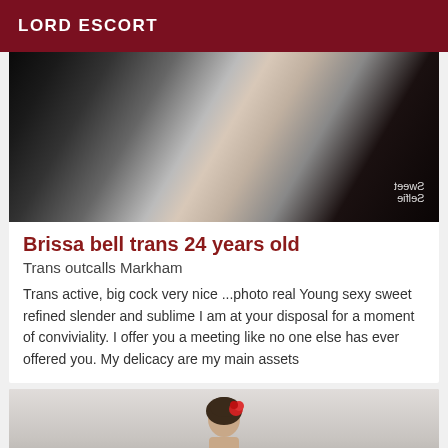LORD ESCORT
[Figure (photo): Photo of a blonde person in black lingerie taking a selfie, with a Sweet Selfie app watermark visible in the corner]
Brissa bell trans 24 years old
Trans outcalls Markham
Trans active, big cock very nice ...photo real Young sexy sweet refined slender and sublime I am at your disposal for a moment of conviviality. I offer you a meeting like no one else has ever offered you. My delicacy are my main assets
[Figure (photo): Photo of a person with dark hair and a red flower/accessory in their hair, against a light background]